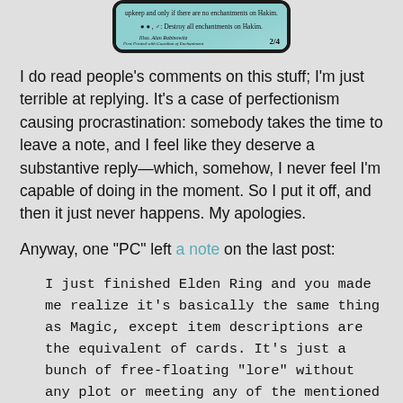[Figure (photo): A Magic: The Gathering card (Hakim) showing card text about enchantments and a 2/4 power/toughness. Illustrated by Alan Rabinowitz.]
I do read people's comments on this stuff; I'm just terrible at replying. It's a case of perfectionism causing procrastination: somebody takes the time to leave a note, and I feel like they deserve a substantive reply—which, somehow, I never feel I'm capable of doing in the moment. So I put it off, and then it just never happens. My apologies.
Anyway, one "PC" left a note on the last post:
I just finished Elden Ring and you made me realize it's basically the same thing as Magic, except item descriptions are the equivalent of cards. It's just a bunch of free-floating "lore" without any plot or meeting any of the mentioned characters, give or take a few boss